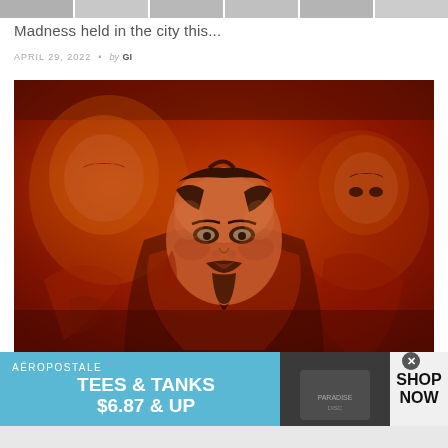[Figure (photo): Row of cropped thumbnail images at top of page]
Madness held in the city this...
APRIL 29, 2022 • by GI
[Figure (photo): Movie promotional image with red/orange tones showing multiple versions of a bearded male character in dramatic lighting, resembling a superhero film poster]
[Figure (infographic): Aéropostale advertisement banner: TEES & TANKS $6.87 & UP with SHOP NOW call to action]